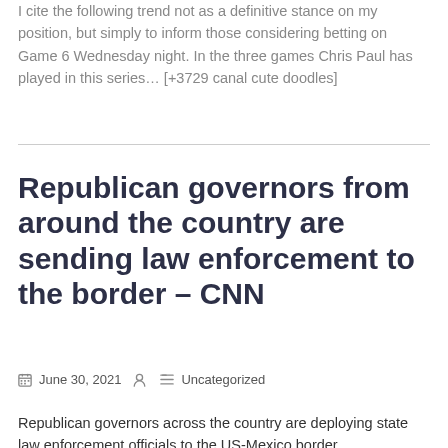I cite the following trend not as a definitive stance on my position, but simply to inform those considering betting on Game 6 Wednesday night. In the three games Chris Paul has played in this series… [+3729 canal cute doodles]
Republican governors from around the country are sending law enforcement to the border – CNN
June 30, 2021   Uncategorized
Republican governors across the country are deploying state law enforcement officials to the US-Mexico border...